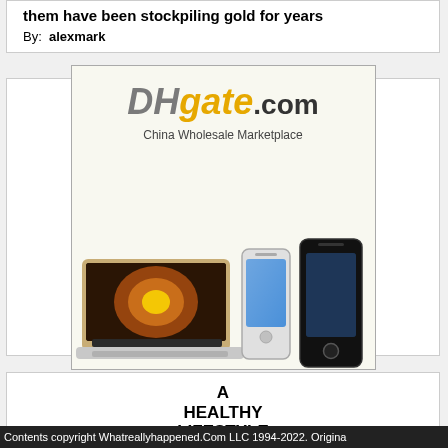them have been stockpiling gold for years
By:  alexmark
[Figure (advertisement): DHgate.com advertisement showing logo, tagline 'China Wholesale Marketplace' and product images including a laptop and smartphones]
A HEALTHY LIFESTYLE INCLUDES
XTENDOVITE!
Contents copyright Whatreallyhappened.Com LLC 1994-2022. Origina